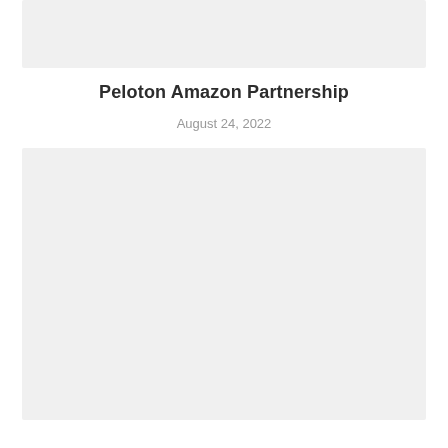[Figure (other): Top gray placeholder image block]
Peloton Amazon Partnership
August 24, 2022
[Figure (other): Large gray placeholder image block]
...